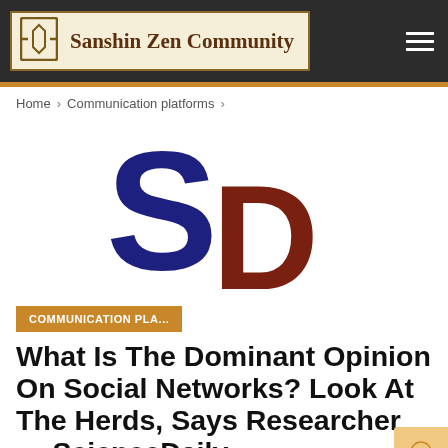Sanshin Zen Community
Home > Communication platforms >
[Figure (logo): ScienceDaily logo: large navy-blue letter S overlapping a dark-brown letter D]
COMMUNICATION PLA...
What Is The Dominant Opinion On Social Networks? Look At The Herds, Says Researcher — ScienceDaily